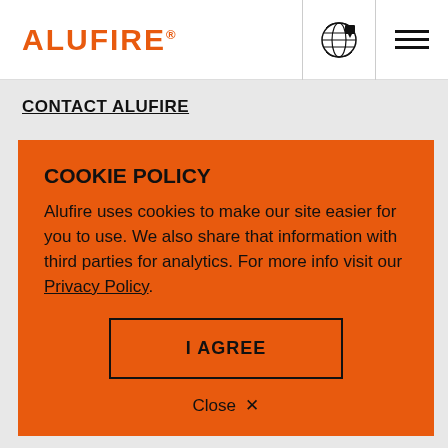ALUFIRE®
CONTACT ALUFIRE
COOKIE POLICY
Alufire uses cookies to make our site easier for you to use. We also share that information with third parties for analytics. For more info visit our Privacy Policy.
I AGREE
Close ×